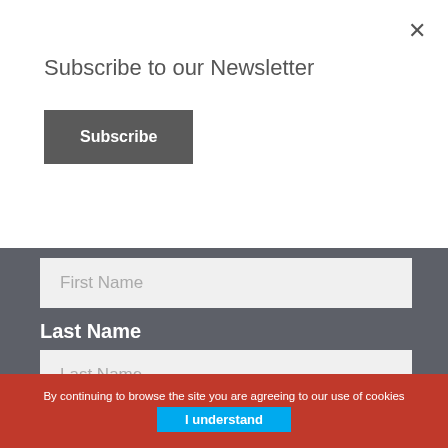Subscribe to our Newsletter
Subscribe
First Name
Last Name
Last Name
Email Address
Email
Sign up
By continuing to browse the site you are agreeing to our use of cookies
I understand